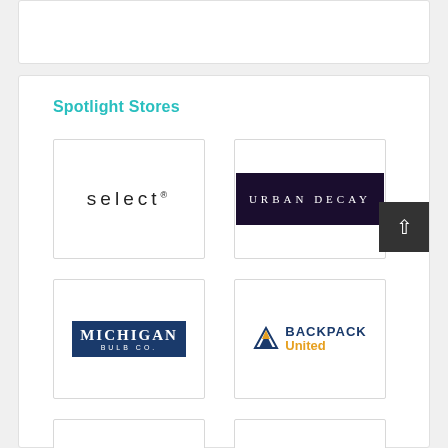Spotlight Stores
[Figure (logo): Select logo — lowercase 'select®' in thin sans-serif font]
[Figure (logo): Urban Decay logo — white uppercase text on dark purple/navy background]
[Figure (logo): Michigan Bulb Co. logo — white serif text on navy blue bordered rectangle]
[Figure (logo): Backpack United logo — mountain icon with 'BACKPACK' in navy and 'United' in gold/orange]